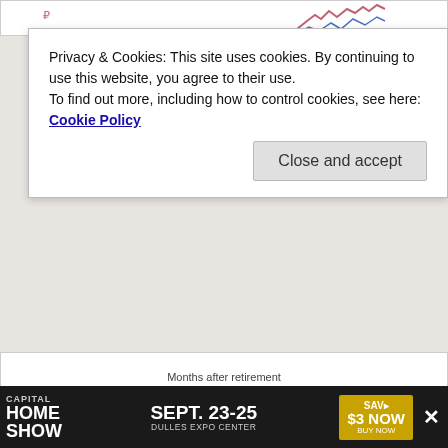[Figure (continuous-plot): Partial view of a line chart showing real portfolio values and margin loan balances over months after retirement. Only the top portion is visible with chart lines partially cut off.]
Privacy & Cookies: This site uses cookies. By continuing to use this website, you agree to their use.
To find out more, including how to control cookies, see here: Cookie Policy
Months after retirement
November 1965 cohort: Real portfolio values and margin loan balances.
After 360 months, the leverage strategy would have indeed worked out splendidly. The loan of $1.5m and $1.9m for the 1.5% and 3.0% margin interest loans, respectively, could have easily been paid off by the final portfolio of close to $4m. But do you notice a problem with this calculation? Somewhere around 180–200 months into retirement, during the 1982
[Figure (advertisement): Capital Home Show advertisement banner. SEPT. 23-25, DULLES EXPO CENTER. SAV $3 NOW BUY NOW.]